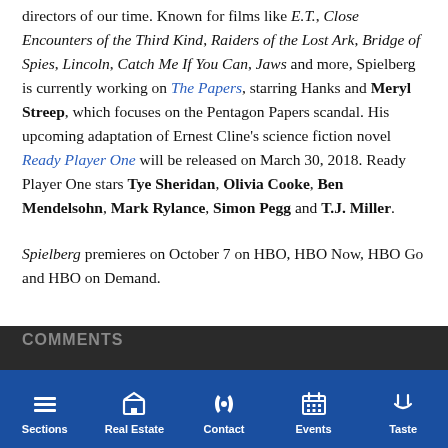directors of our time. Known for films like E.T., Close Encounters of the Third Kind, Raiders of the Lost Ark, Bridge of Spies, Lincoln, Catch Me If You Can, Jaws and more, Spielberg is currently working on The Papers, starring Hanks and Meryl Streep, which focuses on the Pentagon Papers scandal. His upcoming adaptation of Ernest Cline's science fiction novel Ready Player One will be released on March 30, 2018. Ready Player One stars Tye Sheridan, Olivia Cooke, Ben Mendelsohn, Mark Rylance, Simon Pegg and T.J. Miller.
Spielberg premieres on October 7 on HBO, HBO Now, HBO Go and HBO on Demand.
Sections | Real Estate | Contact | Events | Taste